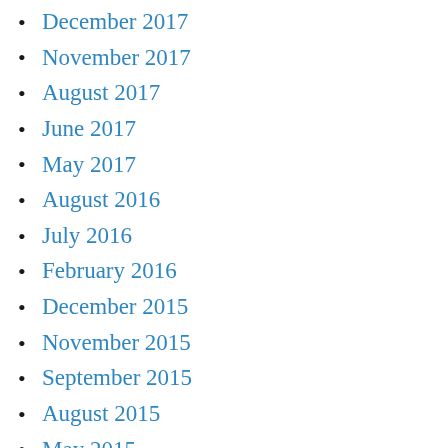December 2017
November 2017
August 2017
June 2017
May 2017
August 2016
July 2016
February 2016
December 2015
November 2015
September 2015
August 2015
May 2015
March 2015
October 2014
September 2014